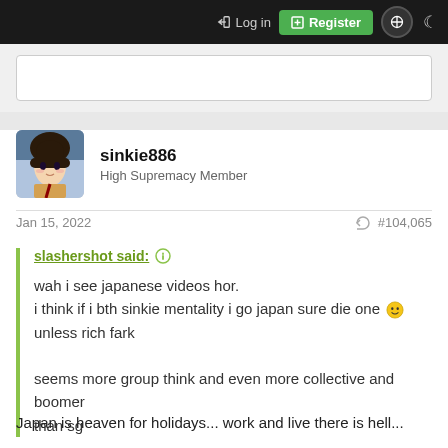Log in  Register
sinkie886
High Supremacy Member
Jan 15, 2022  #104,065
slashershot said:
wah i see japanese videos hor.
i think if i bth sinkie mentality i go japan sure die one 🙂
unless rich fark

seems more group think and even more collective and boomer than sg
Japan is heaven for holidays... work and live there is hell...